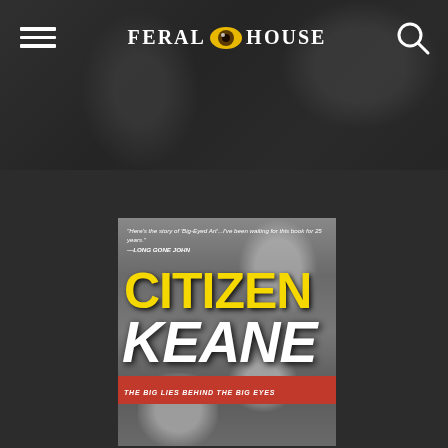[Figure (screenshot): Feral House publisher website screenshot showing navigation header with hamburger menu, Feral House logo with eye icon, and search icon, overlaid on a dark grayscale background photo. Below is a book cover for 'Citizen Keane: The Big Lies Behind the Big Eyes'.]
Feral House
[Figure (photo): Book cover for 'Citizen Keane: The Big Lies Behind the Big Eyes'. Yellow bold text reads CITIZEN, white italic text reads KEANE, subtitle on red band reads THE BIG LIES BEHIND THE BIG EYES. Quote at top: "Here's the story of 'Big-Eyed Art'...I've been waiting for this book for 25 years." —LONG GONE JOHN. Background shows black-and-white photo of two people.]